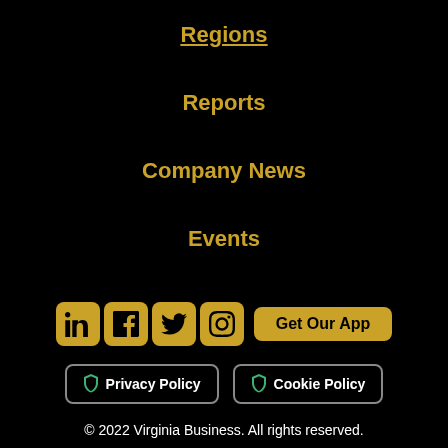Regions
Reports
Company News
Events
[Figure (other): Row of social media icons (LinkedIn, Facebook, Twitter, Instagram) and a Get Our App button]
[Figure (other): Privacy Policy and Cookie Policy buttons with shield icons]
© 2022 Virginia Business. All rights reserved.
Site Maintained by TechArk